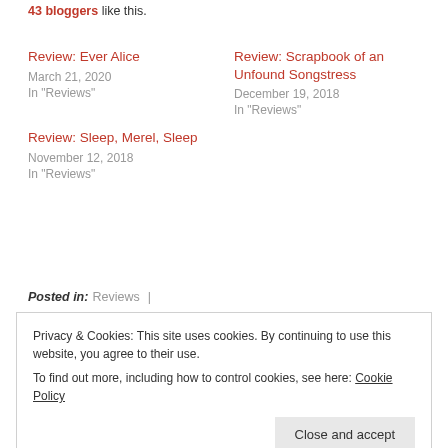43 bloggers like this.
Review: Ever Alice
March 21, 2020
In "Reviews"
Review: Scrapbook of an Unfound Songstress
December 19, 2018
In "Reviews"
Review: Sleep, Merel, Sleep
November 12, 2018
In "Reviews"
Posted in: Reviews |
Privacy & Cookies: This site uses cookies. By continuing to use this website, you agree to their use.
To find out more, including how to control cookies, see here: Cookie Policy